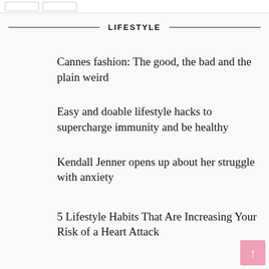LIFESTYLE
Cannes fashion: The good, the bad and the plain weird
Easy and doable lifestyle hacks to supercharge immunity and be healthy
Kendall Jenner opens up about her struggle with anxiety
5 Lifestyle Habits That Are Increasing Your Risk of a Heart Attack